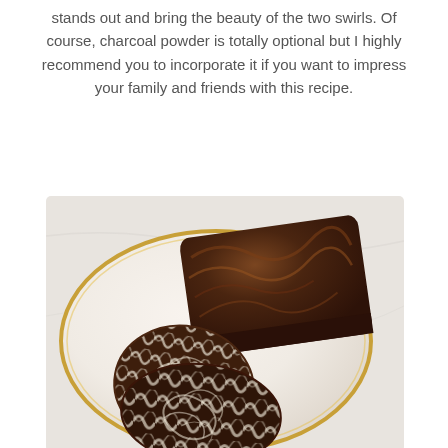stands out and bring the beauty of the two swirls. Of course, charcoal powder is totally optional but I highly recommend you to incorporate it if you want to impress your family and friends with this recipe.
[Figure (photo): A marble cake loaf on a white plate with gold rim, showing two slices cut from the loaf revealing dark chocolate and light cream swirl pattern inside, photographed from above on a white marble surface.]